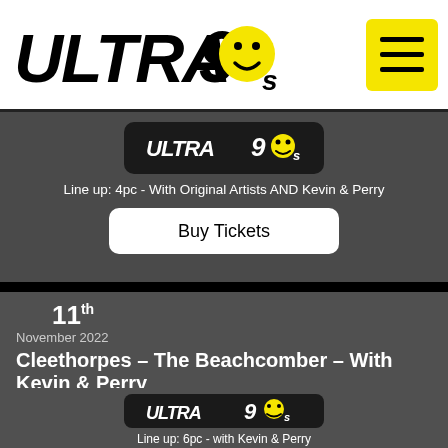Ultra 90s
[Figure (logo): Ultra 90s logo with smiley face in the 'o' of 90s, next to yellow hamburger menu button]
[Figure (logo): Ultra 90s badge logo (black rounded rectangle)]
Line up: 4pc - With Original Artists AND Kevin & Perry
Buy Tickets
11th
November 2022
Cleethorpes – The Beachcomber – With Kevin & Perry
Beachcomber Entertainment Centre, Sea Lane, Cleethorpes, DN36 4ET
Tel:
[Figure (logo): Ultra 90s badge logo (black rounded rectangle)]
Line up: 6pc - with Kevin & Perry